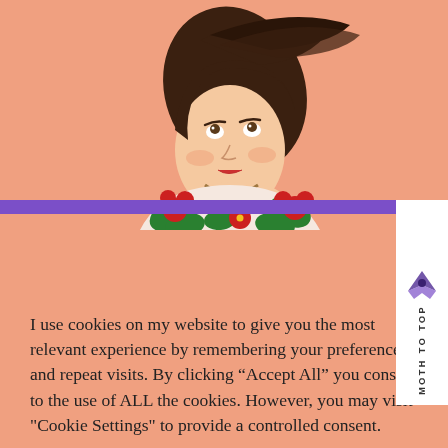[Figure (illustration): Cartoon illustration of a woman with dark hair blowing in wind, wearing a floral top with red flowers and green leaves, on a salmon/peach background.]
I use cookies on my website to give you the most relevant experience by remembering your preferences and repeat visits. By clicking “Accept All” you consent to the use of ALL the cookies. However, you may visit "Cookie Settings" to provide a controlled consent.
Cookie Settings
Accept All